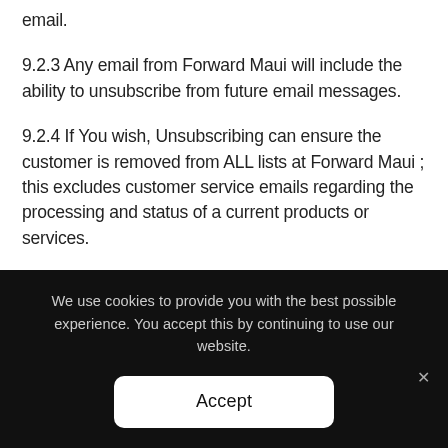email.
9.2.3 Any email from Forward Maui will include the ability to unsubscribe from future email messages.
9.2.4 If You wish, Unsubscribing can ensure the customer is removed from ALL lists at Forward Maui ; this excludes customer service emails regarding the processing and status of a current products or services.
9.2.5 All emails sent to you directly by Forward Maui include valid postal address information in the footer.
9.2.6 All third party marketing partners are required to
We use cookies to provide you with the best possible experience. You accept this by continuing to use our website.
Accept